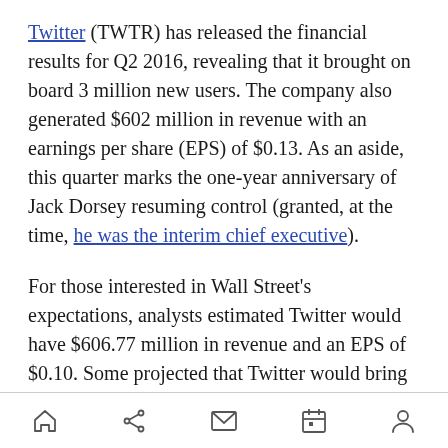Twitter (TWTR) has released the financial results for Q2 2016, revealing that it brought on board 3 million new users. The company also generated $602 million in revenue with an earnings per share (EPS) of $0.13. As an aside, this quarter marks the one-year anniversary of Jack Dorsey resuming control (granted, at the time, he was the interim chief executive).
For those interested in Wall Street's expectations, analysts estimated Twitter would have $606.77 million in revenue and an EPS of $0.10. Some projected that Twitter would bring in just 2 million new users.
[home] [share] [mail] [calendar] [profile]